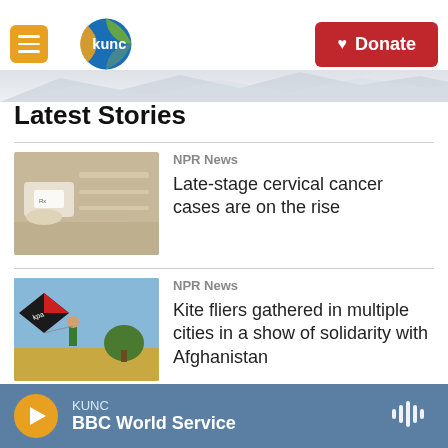KUNC — Donate
Latest Stories
NPR News
Late-stage cervical cancer cases are on the rise
NPR News
Kite fliers gathered in multiple cities in a show of solidarity with Afghanistan
NPR News
KUNC — BBC World Service